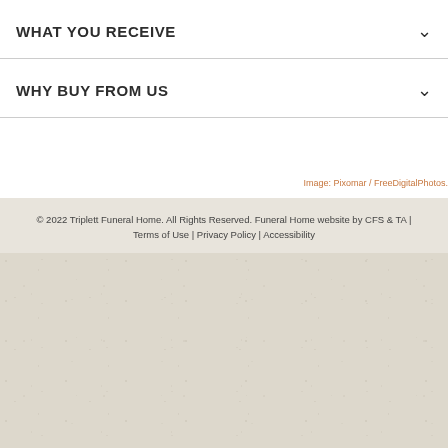WHAT YOU RECEIVE
WHY BUY FROM US
Image: Pixomar / FreeDigitalPhotos.
© 2022 Triplett Funeral Home. All Rights Reserved. Funeral Home website by CFS & TA | Terms of Use | Privacy Policy | Accessibility